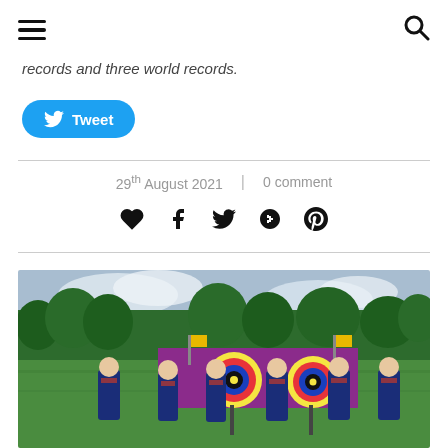Navigation header with hamburger menu and search icon
records and three world records.
Tweet
29th August 2021 | 0 comment
[Figure (photo): Group of archers in team GB uniforms standing in front of archery targets on a green field with trees in the background]